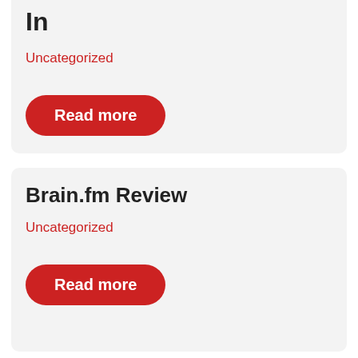In
Uncategorized
Read more
Brain.fm Review
Uncategorized
Read more